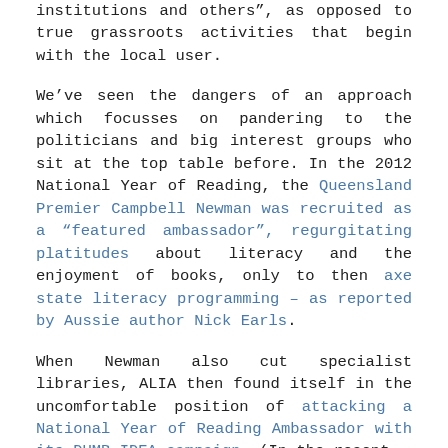institutions and others", as opposed to true grassroots activities that begin with the local user.
We've seen the dangers of an approach which focusses on pandering to the politicians and big interest groups who sit at the top table before. In the 2012 National Year of Reading, the Queensland Premier Campbell Newman was recruited as a "featured ambassador", regurgitating platitudes about literacy and the enjoyment of books, only to then axe state literacy programming – as reported by Aussie author Nick Earls.
When Newman also cut specialist libraries, ALIA then found itself in the uncomfortable position of attacking a National Year of Reading Ambassador with its DUMB IDEA campaign. (In the recent